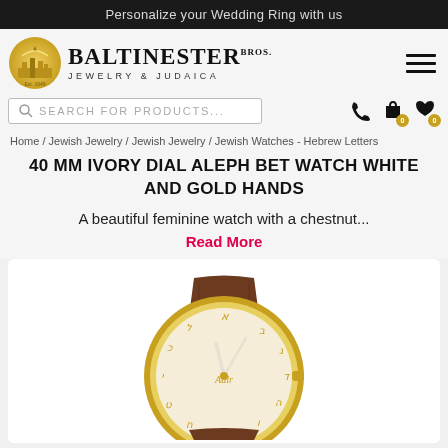Personalize your Wedding Ring with us
[Figure (logo): Baltinester Bros. Jewelry & Judaica logo with golden city skyline circle icon]
SEARCH FOR PRODUCTS...
Home / Jewish Jewelry / Jewish Jewelry / Jewish Watches - Hebrew Letters
40 MM IVORY DIAL ALEPH BET WATCH WHITE AND GOLD HANDS
A beautiful feminine watch with a chestnut...
Read More
[Figure (photo): A feminine watch with a brown leather strap, gold case, and ivory dial featuring Hebrew letter (Aleph Bet) markings and white and gold hands]